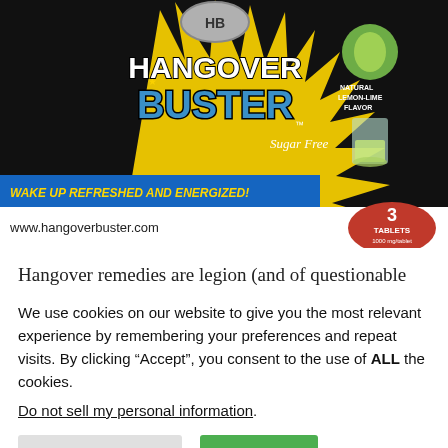[Figure (photo): Product packaging for Hangover Buster tablets. Dark background with yellow starburst graphic, 'HB' logo, large text reading 'HANGOVER BUSTER', Sugar Free, Natural Lemon-Lime Flavor, blue banner reading 'WAKE UP REFRESHED AND ENERGIZED!', website www.hangoverbuster.com, and red circular badge reading '3 TABLETS 1000 mg/tablet'.]
Hangover remedies are legion (and of questionable
We use cookies on our website to give you the most relevant experience by remembering your preferences and repeat visits. By clicking “Accept”, you consent to the use of ALL the cookies.
Do not sell my personal information.
Cookie Settings   Accept